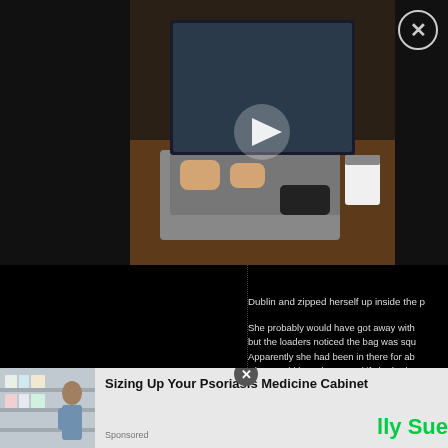[Figure (screenshot): Video thumbnail showing hands typing on a laptop with a coffee cup and phone on a desk. A play button triangle is overlaid in the center. A close (X) button is in the top right corner.]
Dublin and zipped herself up inside the p
She probably would have got away with it but the loaders noticed the bag was squi Apparently she had been in there for abo what would have happened if she had m still didn't get to meet the band as they h questioned she said she had to go to the
POSTED BY ENT LAWYER AT 11:52 AM
[Figure (screenshot): Row of social sharing icons: email (M), Blogger (B), Twitter bird, Facebook (f), Pinterest (P)]
[Figure (photo): Advertisement banner: person browsing medicine aisle in pharmacy. Ad title: Sizing Up Your Psoriasis Medicine Cabinet. Sponsored label.]